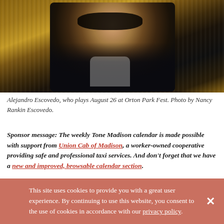[Figure (photo): Portrait photo of Alejandro Escovedo wearing sunglasses and a patterned jacket, with a wood plank background]
Alejandro Escovedo, who plays August 26 at Orton Park Fest. Photo by Nancy Rankin Escovedo.
Sponsor message: The weekly Tone Madison calendar is made possible with support from Union Cab of Madison, a worker-owned cooperative providing safe and professional taxi services. And don't forget that we have a new and improved, browsable calendar section.
This site uses cookies to provide you with a great user experience. By continuing to use this website, you consent to the use of cookies in accordance with our privacy_policy.